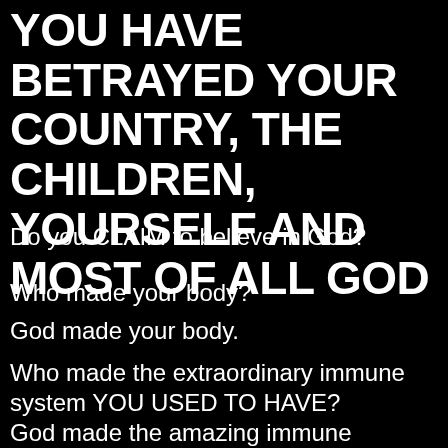YOU HAVE BETRAYED YOUR COUNTRY, THE CHILDREN, YOURSELF AND MOST OF ALL GOD
Do you CLAIM to believe in God?
Who made your body?
God made your body.
Who made the extraordinary immune system YOU USED TO HAVE?
God made the amazing immune